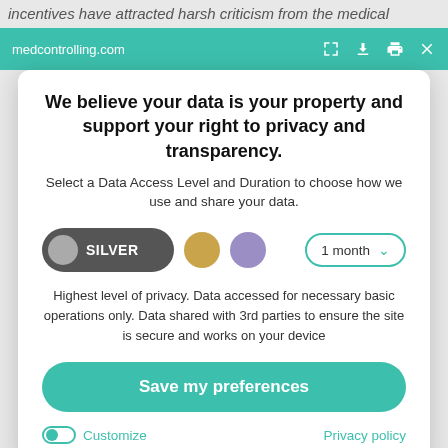incentives have attracted harsh criticism from the medical profession, the health insurance funds and politicians. "Some...
medcontrolling.com
We believe your data is your property and support your right to privacy and transparency.
Select a Data Access Level and Duration to choose how we use and share your data.
[Figure (infographic): Privacy level selector row with SILVER option selected (dark pill button with grey circle), gold circle, purple circle, and '1 month' dropdown with teal border and chevron.]
Highest level of privacy. Data accessed for necessary basic operations only. Data shared with 3rd parties to ensure the site is secure and works on your device
Save my preferences
Customize
Privacy policy